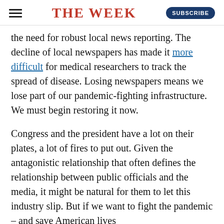THE WEEK
the need for robust local news reporting. The decline of local newspapers has made it more difficult for medical researchers to track the spread of disease. Losing newspapers means we lose part of our pandemic-fighting infrastructure. We must begin restoring it now.
Congress and the president have a lot on their plates, a lot of fires to put out. Given the antagonistic relationship that often defines the relationship between public officials and the media, it might be natural for them to let this industry slip. But if we want to fight the pandemic – and save American lives in the process – it is essential to proceed and